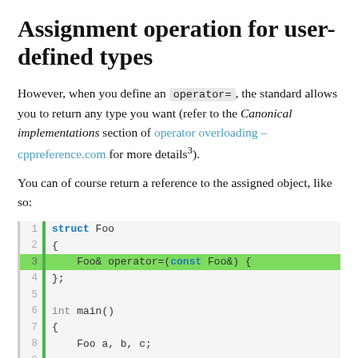Assignment operation for user-defined types
However, when you define an operator=, the standard allows you to return any type you want (refer to the Canonical implementations section of operator overloading – cppreference.com for more details³).
You can of course return a reference to the assigned object, like so:
[Figure (screenshot): Code block showing lines 1-9 of a C++ struct Foo with operator= definition and int main() with Foo a, b, c; Line 3 is highlighted in green.]